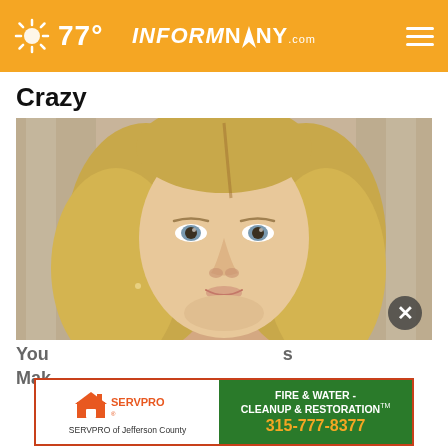77° INFORMNINY.com
Crazy
Health
[Figure (photo): Close-up portrait of a blonde woman with straight hair, looking directly at the camera, with blurred architectural columns in the background.]
You Make s
Mak ( )
[Figure (infographic): SERVPRO advertisement banner. Left side white with SERVPRO orange house logo and text 'SERVPRO of Jefferson County'. Right side green with text 'FIRE & WATER - CLEANUP & RESTORATION TM' and phone number '315-777-8377'.]